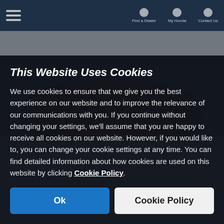[Figure (screenshot): Blurred automotive website screenshot showing a navigation bar with hamburger menu icon on the left and icons on the right, a blurred page title in blue, and a blurred red car image in the center/bottom of the visible area]
This Website Uses Cookies
We use cookies to ensure that we give you the best experience on our website and to improve the relevance of our communications with you. If you continue without changing your settings, we'll assume that you are happy to receive all cookies on our website. However, if you would like to, you can change your cookie settings at any time. You can find detailed information about how cookies are used on this website by clicking Cookie Policy.